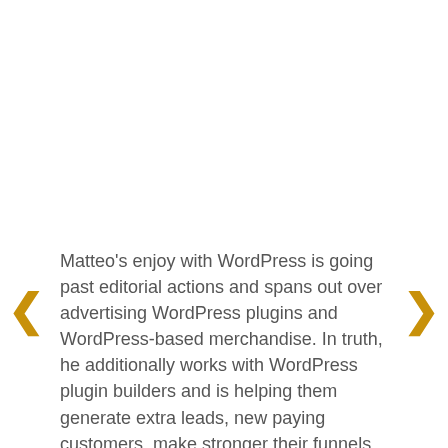Matteo's enjoy with WordPress is going past editorial actions and spans out over advertising WordPress plugins and WordPress-based merchandise. In truth, he additionally works with WordPress plugin builders and is helping them generate extra leads, new paying customers, make stronger their funnels as a Marketing consultant.
Matteo is an energetic member of the WordPress neighborhood by way of collaborating, on occasion even volunteering, in virtually all WordCamp Europe